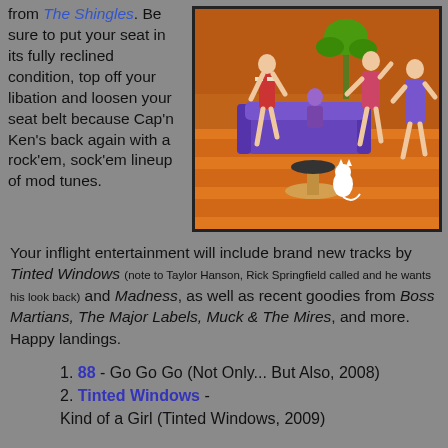from The Shingles. Be sure to put your seat in its fully reclined condition, top off your libation and loosen your seat belt because Cap'n Ken's back again with a rock'em, sock'em lineup of mod tunes.
[Figure (illustration): Retro mid-century modern illustration of stylized figures dancing and playing music in a colorful lounge setting with purple couch, orange floor, and a white cat.]
Your inflight entertainment will include brand new tracks by Tinted Windows (note to Taylor Hanson, Rick Springfield called and he wants his look back) and Madness, as well as recent goodies from Boss Martians, The Major Labels, Muck & The Mires, and more. Happy landings.
1. 88 - Go Go Go (Not Only... But Also, 2008)
2. Tinted Windows - Kind of a Girl (Tinted Windows, 2009)